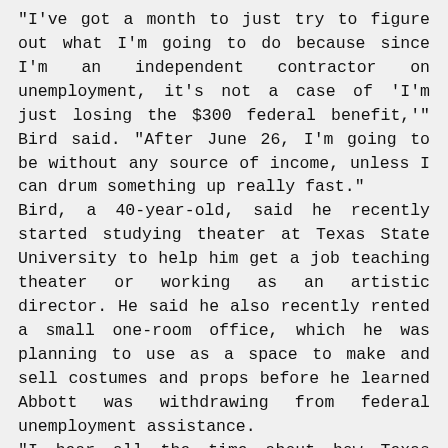"I've got a month to just try to figure out what I'm going to do because since I'm an independent contractor on unemployment, it's not a case of 'I'm just losing the $300 federal benefit,'" Bird said. "After June 26, I'm going to be without any source of income, unless I can drum something up really fast."
Bird, a 40-year-old, said he recently started studying theater at Texas State University to help him get a job teaching theater or working as an artistic director. He said he also recently rented a small one-room office, which he was planning to use as a space to make and sell costumes and props before he learned Abbott was withdrawing from federal unemployment assistance.
"I hear all the time about how Texas supports small businesses," Bird said. "By cutting off the pandemic unemployment insurance early, that's putting me in a spot now where I'm going to have to start chasing my tail again, not only to pay bills, but to keep the rent paid for my new office space. And that's going to be less time I'll